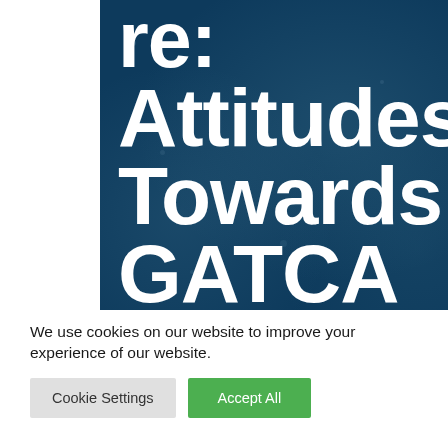re: Attitudes Towards GATCA Compliance
We use cookies on our website to improve your experience of our website.
Cookie Settings | Accept All